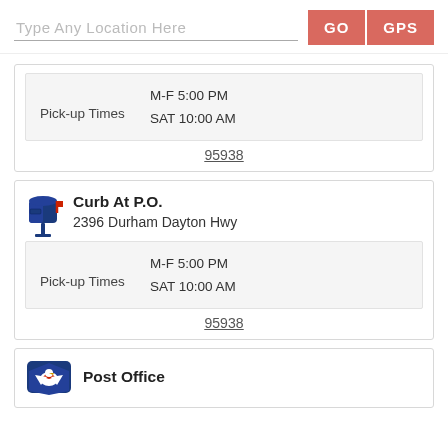Type Any Location Here
GO
GPS
Pick-up Times  M-F 5:00 PM  SAT 10:00 AM
95938
Curb At P.O.
2396 Durham Dayton Hwy
Pick-up Times  M-F 5:00 PM  SAT 10:00 AM
95938
Post Office